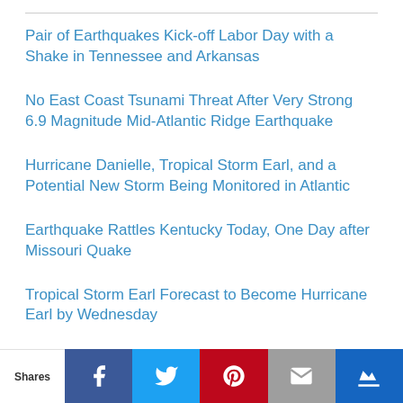Pair of Earthquakes Kick-off Labor Day with a Shake in Tennessee and Arkansas
No East Coast Tsunami Threat After Very Strong 6.9 Magnitude Mid-Atlantic Ridge Earthquake
Hurricane Danielle, Tropical Storm Earl, and a Potential New Storm Being Monitored in Atlantic
Earthquake Rattles Kentucky Today, One Day after Missouri Quake
Tropical Storm Earl Forecast to Become Hurricane Earl by Wednesday
Shares | Facebook | Twitter | Pinterest | Email | Crown